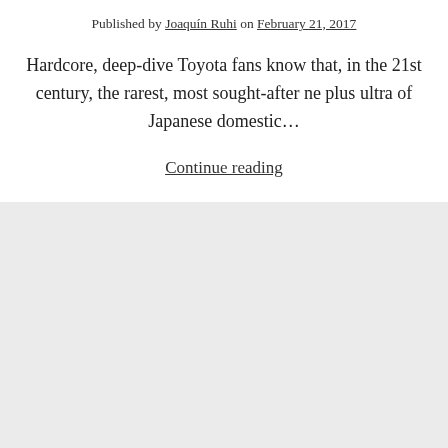Published by Joaquín Ruhi on February 21, 2017
Hardcore, deep-dive Toyota fans know that, in the 21st century, the rarest, most sought-after ne plus ultra of Japanese domestic…
Continue reading